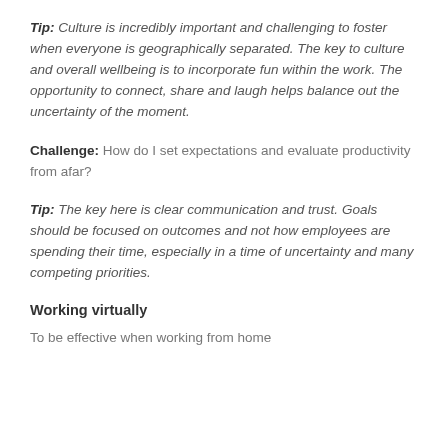Tip: Culture is incredibly important and challenging to foster when everyone is geographically separated. The key to culture and overall wellbeing is to incorporate fun within the work. The opportunity to connect, share and laugh helps balance out the uncertainty of the moment.
Challenge: How do I set expectations and evaluate productivity from afar?
Tip: The key here is clear communication and trust. Goals should be focused on outcomes and not how employees are spending their time, especially in a time of uncertainty and many competing priorities.
Working virtually
To be effective when working from home